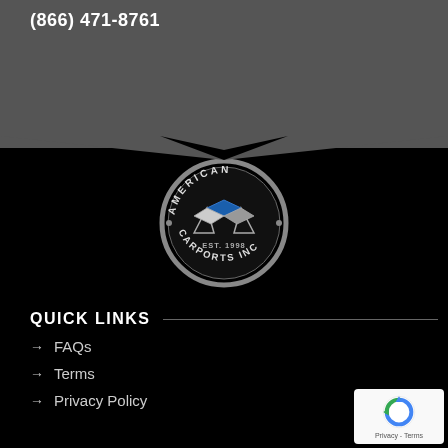(866) 471-8761
[Figure (logo): American Carports Inc. circular logo with carport illustration and 'EST. 1998' text]
QUICK LINKS
→ FAQs
→ Terms
→ Privacy Policy
[Figure (logo): reCAPTCHA badge with Privacy - Terms text]